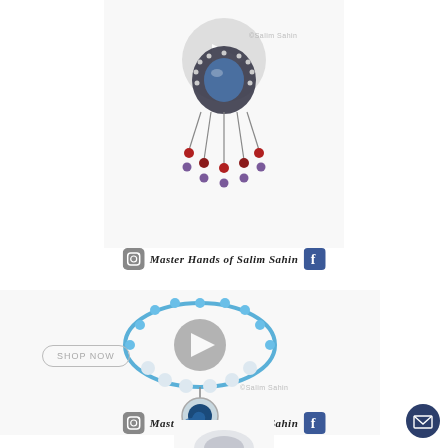[Figure (photo): Decorative chandelier jewelry pendant with blue gemstone, crystal/rhinestone frame, dangling red and purple beads, and silver chains against white background with video play button overlay. Copyright ©Salim Sahin watermark visible.]
[Figure (infographic): Social bar with Instagram icon, italic bold text 'Master Hands of Salim Sahin', and Facebook icon]
[Figure (photo): Blue beaded necklace with circular pendant featuring moon motif, white/pearl accent beads, light blue disc beads, on white background. 'SHOP NOW' button overlay and video play button circle visible. Copyright ©Salim Sahin watermark.]
[Figure (infographic): Social bar with Instagram icon, italic bold text 'Master Hands of Salim Sahin', and Facebook icon]
[Figure (photo): Partial view of another jewelry item at the bottom of the page, partially cropped.]